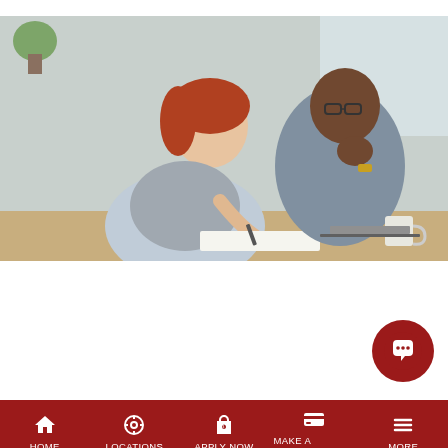[Figure (photo): Two people sitting at a desk, a woman with red hair writing on paper and a man in the background looking on, in an office/home setting]
August 5, 2022
What Do I Need to Transfer a Title in Georgia?
Find out everything you need to transfer a title in Georgia with our foolproof guide. You'll be a title-
HOME   LOCATIONS   APPLY NOW   MAKE A PAYMENT   MORE